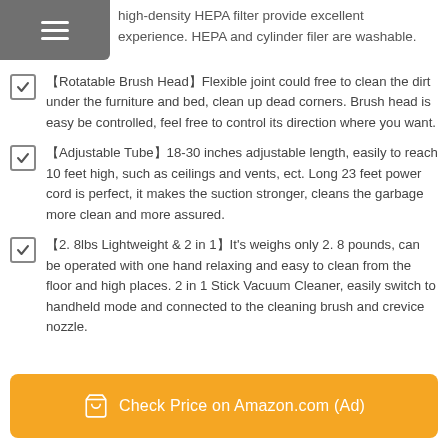high-density HEPA filter provide excellent experience. HEPA and cylinder filer are washable.
【Rotatable Brush Head】Flexible joint could free to clean the dirt under the furniture and bed, clean up dead corners. Brush head is easy be controlled, feel free to control its direction where you want.
【Adjustable Tube】18-30 inches adjustable length, easily to reach 10 feet high, such as ceilings and vents, ect. Long 23 feet power cord is perfect, it makes the suction stronger, cleans the garbage more clean and more assured.
【2. 8lbs Lightweight & 2 in 1】It's weighs only 2. 8 pounds, can be operated with one hand relaxing and easy to clean from the floor and high places. 2 in 1 Stick Vacuum Cleaner, easily switch to handheld mode and connected to the cleaning brush and crevice nozzle.
Check Price on Amazon.com (Ad)